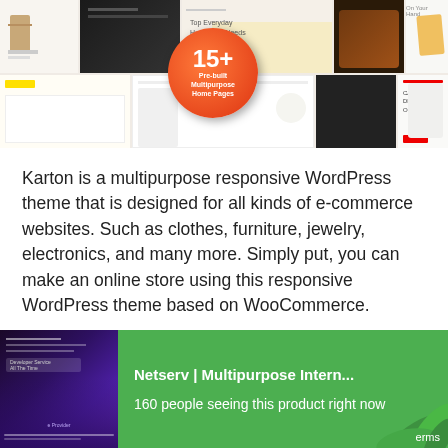[Figure (screenshot): Mosaic of website/theme preview screenshots with an orange circular badge showing '15+ Pre-built Multipurpose Home Pages']
Karton is a multipurpose responsive WordPress theme that is designed for all kinds of e-commerce websites. Such as clothes, furniture, jewelry, electronics, and many more. Simply put, you can make an online store using this responsive WordPress theme based on WooCommerce.
It comes with 13 stunning Multipurpose Ready Store/homepage demos and a bundle of modern e-
[Figure (screenshot): Green popup notification showing a purple website thumbnail on the left labeled 'e Provider' and text: 'Netserv | Multipurpose Intern...' and '160 people seeing this product right now'. Green leaf decoration at bottom right with 'erms' text.]